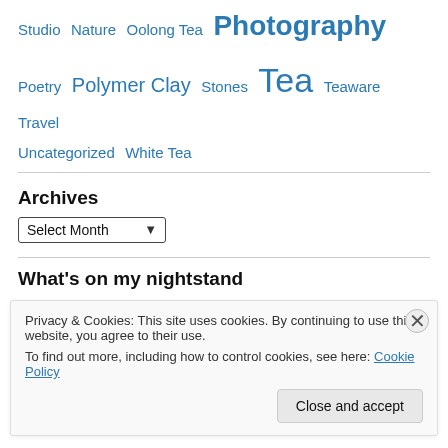Studio  Nature  Oolong Tea  Photography  Poetry  Polymer Clay  Stones  Tea  Teaware  Travel  Uncategorized  White Tea
Archives
Select Month (dropdown)
What's on my nightstand
Privacy & Cookies: This site uses cookies. By continuing to use this website, you agree to their use. To find out more, including how to control cookies, see here: Cookie Policy
Close and accept